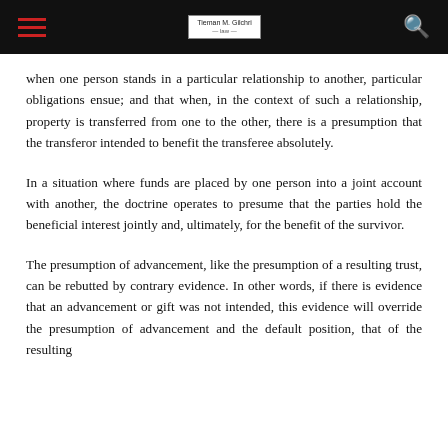[Navigation header with hamburger menu, logo, and search icon]
when one person stands in a particular relationship to another, particular obligations ensue; and that when, in the context of such a relationship, property is transferred from one to the other, there is a presumption that the transferor intended to benefit the transferee absolutely.
In a situation where funds are placed by one person into a joint account with another, the doctrine operates to presume that the parties hold the beneficial interest jointly and, ultimately, for the benefit of the survivor.
The presumption of advancement, like the presumption of a resulting trust, can be rebutted by contrary evidence. In other words, if there is evidence that an advancement or gift was not intended, this evidence will override the presumption of advancement and the default position, that of the resulting